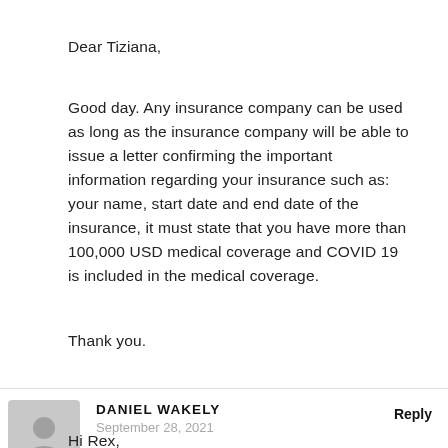Dear Tiziana,
Good day. Any insurance company can be used as long as the insurance company will be able to issue a letter confirming the important information regarding your insurance such as: your name, start date and end date of the insurance, it must state that you have more than 100,000 USD medical coverage and COVID 19 is included in the medical coverage.
Thank you.
DANIEL WAKELY
September 28, 2021
Reply
Hi Rex,